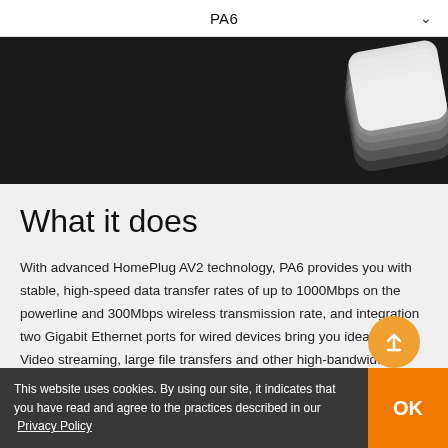PA6
[Figure (photo): Product photo of PA6 powerline adapter device on a dark/black background, device appears white with ridged design, positioned in upper-right of the hero banner]
What it does
With advanced HomePlug AV2 technology, PA6 provides you with stable, high-speed data transfer rates of up to 1000Mbps on the powerline and 300Mbps wireless transmission rate, and integration two Gigabit Ethernet ports for wired devices bring you ideal for HD Video streaming, large file transfers and other high-bandwidth
This website uses cookies. By using our site, it indicates that you have read and agree to the practices described in our  Privacy Policy